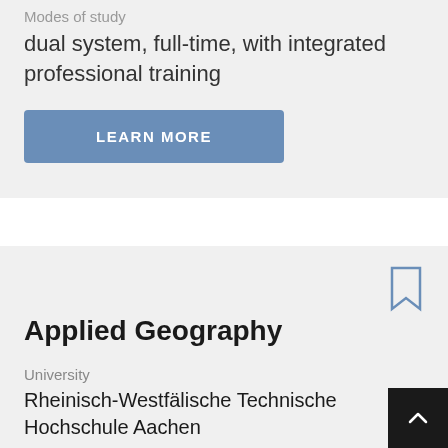Modes of study
dual system, full-time, with integrated professional training
LEARN MORE
Applied Geography
University
Rheinisch-Westfälische Technische Hochschule Aachen